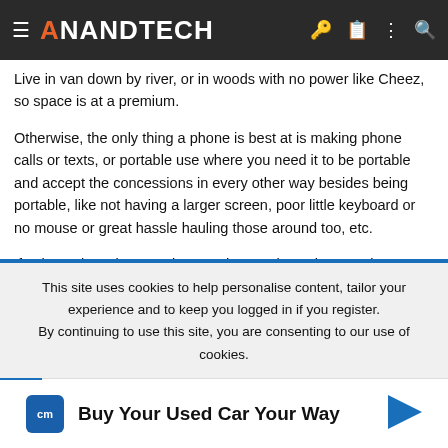AnandTech
Live in van down by river, or in woods with no power like Cheez, so space is at a premium.
Otherwise, the only thing a phone is best at is making phone calls or texts, or portable use where you need it to be portable and accept the concessions in every other way besides being portable, like not having a larger screen, poor little keyboard or no mouse or great hassle hauling those around too, etc.
If using only a phone makes you happy, that's the most important thing. It would make me very unhappy and it's not just some kind of an adjustment period. Rather I recognize the value of using the right tool for the job. Sometimes that's a phone. Often it is not.
This site uses cookies to help personalise content, tailor your experience and to keep you logged in if you register.
By continuing to use this site, you are consenting to our use of cookies.
[Figure (other): Advertisement banner: Buy Your Used Car Your Way with CarMax logo]